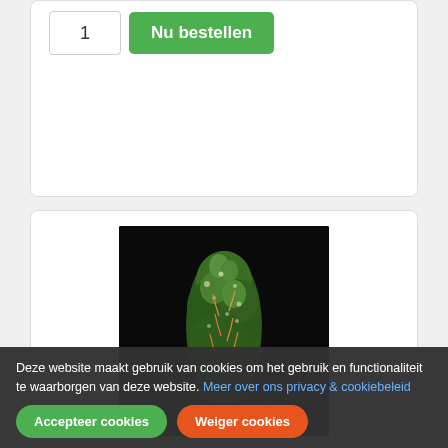1
Nu bestellen
[Figure (photo): Close-up photo of a cannabis bud/flower against a black background, showing dense green trichome-covered flower with orange pistils and green leaves.]
70% Sativa.(Amnesia x Ne... er si...
Deze website maakt gebruik van cookies om het gebruik en functionaliteit te waarborgen van deze website. Meer over ons privacy & cookiebeleid
Accepteer cookies
Weiger cookies